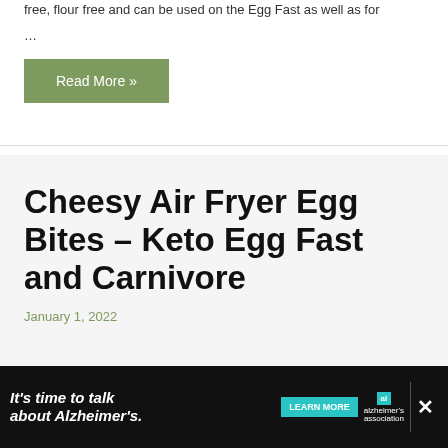free, flour free and can be used on the Egg Fast as well as for ...
Read More »
Cheesy Air Fryer Egg Bites – Keto Egg Fast and Carnivore
January 1, 2022
[Figure (photo): Close-up photo of cheesy air fryer egg bites, showing golden-brown egg bites with melted cheese]
It's time to talk about Alzheimer's. LEARN MORE